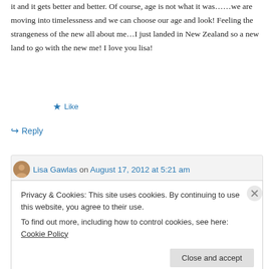it and it gets better and better. Of course, age is not what it was……we are moving into timelessness and we can choose our age and look! Feeling the strangeness of the new all about me…I just landed in New Zealand so a new land to go with the new me! I love you lisa!
★ Like
↪ Reply
Lisa Gawlas on August 17, 2012 at 5:21 am
Privacy & Cookies: This site uses cookies. By continuing to use this website, you agree to their use.
To find out more, including how to control cookies, see here: Cookie Policy
Close and accept